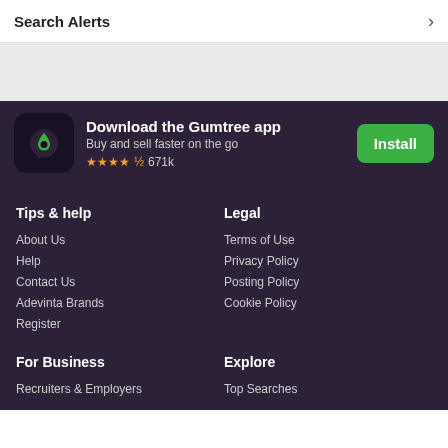Search Alerts
[Figure (other): Gray background section / ad placeholder area]
Download the Gumtree app
Buy and sell faster on the go
★★★★½ 671k
Install
Tips & help
About Us
Help
Contact Us
Adevinta Brands
Register
Legal
Terms of Use
Privacy Policy
Posting Policy
Cookie Policy
For Business
Recruiters & Employers
Explore
Top Searches